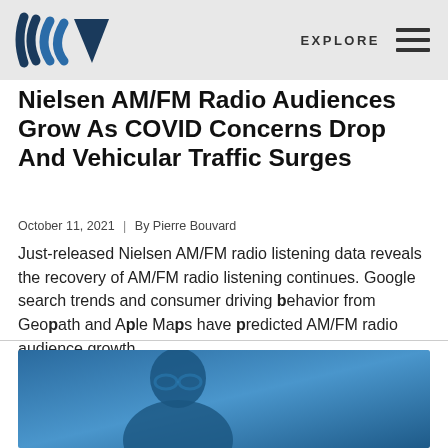EXPLORE
Nielsen AM/FM Radio Audiences Grow As COVID Concerns Drop And Vehicular Traffic Surges
October 11, 2021  |  By Pierre Bouvard
Just-released Nielsen AM/FM radio listening data reveals the recovery of AM/FM radio listening continues. Google search trends and consumer driving behavior from Geopath and Apple Maps have predicted AM/FM radio audience growth.
[Figure (photo): Blue-tinted photo of a man wearing glasses, partially visible at the bottom of the page]